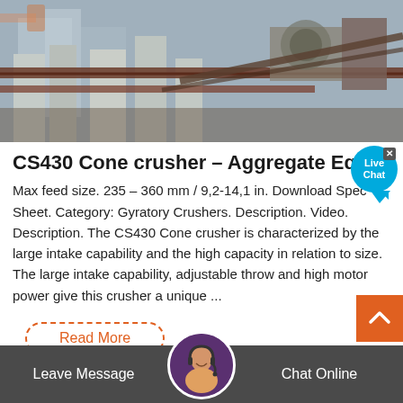[Figure (photo): Industrial cone crusher machinery at an aggregate or mining site with concrete structures and steel equipment]
CS430 Cone crusher – Aggregate Equi...
Max feed size. 235 – 360 mm / 9,2-14,1 in. Download Spec Sheet. Category: Gyratory Crushers. Description. Video. Description. The CS430 Cone crusher is characterized by the large intake capability and the high capacity in relation to size. The large intake capability, adjustable throw and high motor power give this crusher a unique ...
Read More
Leave Message
Chat Online